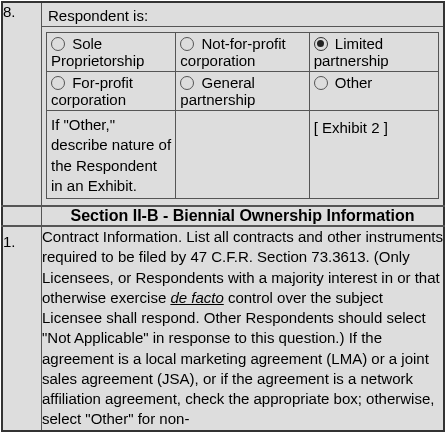| 8. | Respondent is: |
| --- | --- |
|  | Sole Proprietorship | Not-for-profit corporation | Limited partnership (selected) | For-profit corporation | General partnership | Other | If 'Other,' describe nature of the Respondent in an Exhibit. | [ Exhibit 2 ] |
Section II-B - Biennial Ownership Information
| 1. | Contract Information... |
| --- | --- |
| 1. | Contract Information. List all contracts and other instruments required to be filed by 47 C.F.R. Section 73.3613. (Only Licensees, or Respondents with a majority interest in or that otherwise exercise de facto control over the subject Licensee shall respond. Other Respondents should select "Not Applicable" in response to this question.) If the agreement is a local marketing agreement (LMA) or a joint sales agreement (JSA), or if the agreement is a network affiliation agreement, check the appropriate box; otherwise, select "Other" for non- |